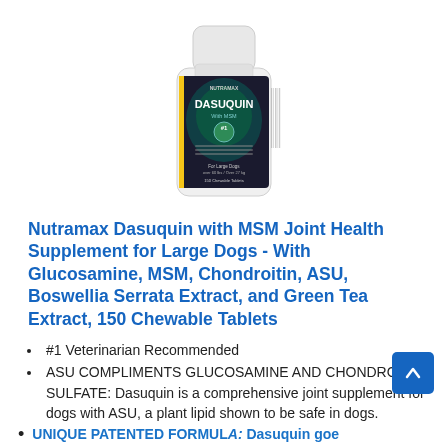[Figure (photo): White bottle of Nutramax Dasuquin with MSM joint health supplement for large dogs, showing product label with green and teal design, barcode visible on side.]
Nutramax Dasuquin with MSM Joint Health Supplement for Large Dogs - With Glucosamine, MSM, Chondroitin, ASU, Boswellia Serrata Extract, and Green Tea Extract, 150 Chewable Tablets
#1 Veterinarian Recommended
ASU COMPLIMENTS GLUCOSAMINE AND CHONDROITIN SULFATE: Dasuquin is a comprehensive joint supplement for dogs with ASU, a plant lipid shown to be safe in dogs.
UNIQUE PATENTED FORMULA: Dasuquin goes...